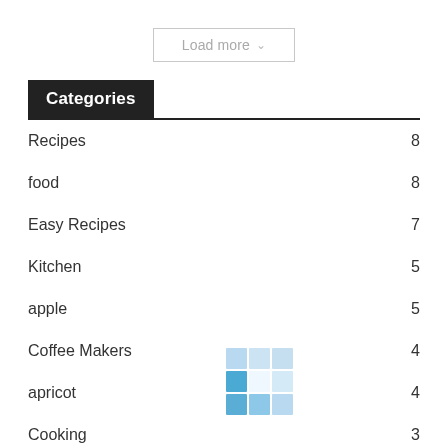[Figure (other): Load more button with dropdown arrow]
Categories
Recipes 8
food 8
Easy Recipes 7
Kitchen 5
apple 5
Coffee Makers 4
apricot 4
Cooking 3
[Figure (other): Mosaic/grid of blue squares decoration overlaid on the list]